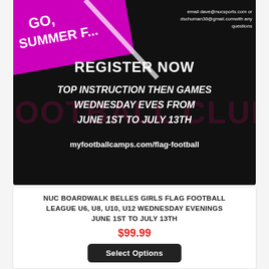[Figure (infographic): Dark background banner for NUC Boardwalk Belles Girls Flag Football League. Shows purple diagonal stripe with partial text, athlete photo top right, background 'FOOTBALL CLUB' text in dark maroon, white bold text reading 'REGISTER NOW', 'TOP INSTRUCTION THEN GAMES', 'WEDNESDAY EVES FROM', 'JUNE 1ST TO JULY 13TH', website URL 'myfootballcamps.com/flag-football', and email contact info top right.]
NUC BOARDWALK BELLES GIRLS FLAG FOOTBALL LEAGUE U6, U8, U10, U12 WEDNESDAY EVENINGS JUNE 1ST TO JULY 13TH
$99.99
Select Options
[Figure (photo): Bottom section showing NUC All American Game logo, NUC All World logo, NUC football player silhouette logo with stars, and photos of football players in background with blue overlay tint.]